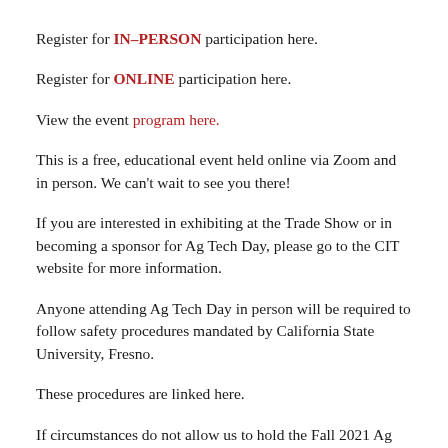Register for IN–PERSON participation here.
Register for ONLINE participation here.
View the event program here.
This is a free, educational event held online via Zoom and in person. We can't wait to see you there!
If you are interested in exhibiting at the Trade Show or in becoming a sponsor for Ag Tech Day, please go to the CIT website for more information.
Anyone attending Ag Tech Day in person will be required to follow safety procedures mandated by California State University, Fresno.
These procedures are linked here.
If circumstances do not allow us to hold the Fall 2021 Ag Tech Day in person,